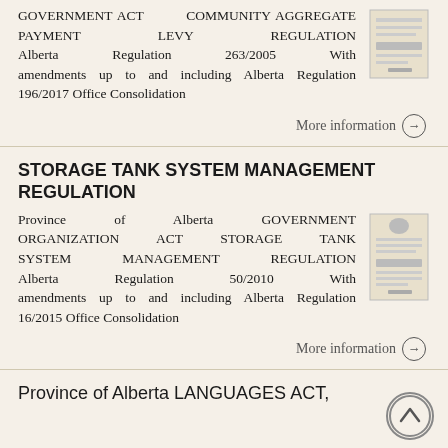GOVERNMENT ACT COMMUNITY AGGREGATE PAYMENT LEVY REGULATION Alberta Regulation 263/2005 With amendments up to and including Alberta Regulation 196/2017 Office Consolidation
More information →
STORAGE TANK SYSTEM MANAGEMENT REGULATION
Province of Alberta GOVERNMENT ORGANIZATION ACT STORAGE TANK SYSTEM MANAGEMENT REGULATION Alberta Regulation 50/2010 With amendments up to and including Alberta Regulation 16/2015 Office Consolidation
More information →
Province of Alberta LANGUAGES ACT,